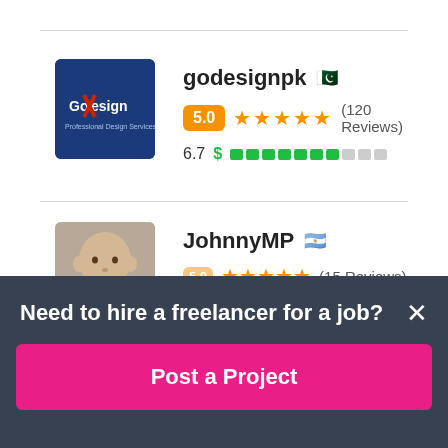[Figure (photo): GoDesign logo — dark blue background with 'GoDesign' text and an X graphic in red]
godesignpk 🇵🇰
5.0 ★★★★★ (120 Reviews)
6.7 $ ▓▓▓▓▓▓▓░░░
[Figure (photo): Photo of JohnnyMP — a bald man looking at the camera]
JohnnyMP 🇦🇷
5.0 ★★★★★ (15 Reviews) [partially visible]
Need to hire a freelancer for a job?
Post a Project